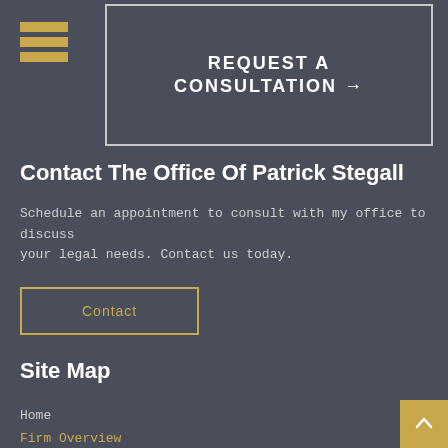[Figure (other): Hamburger menu icon with three horizontal gold bars]
REQUEST A CONSULTATION →
Contact The Office Of Patrick Stegall
Schedule an appointment to consult with my office to discuss your legal needs. Contact us today.
Contact
Site Map
Home
Firm Overview
Attorney
Practice Areas Overview